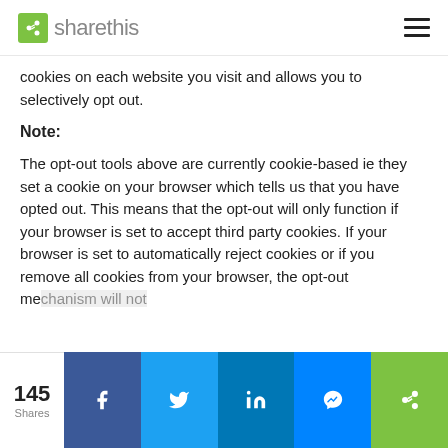sharethis
cookies on each website you visit and allows you to selectively opt out.
Note:
The opt-out tools above are currently cookie-based ie they set a cookie on your browser which tells us that you have opted out. This means that the opt-out will only function if your browser is set to accept third party cookies. If your browser is set to automatically reject cookies or if you remove all cookies from your browser, the opt-out mechanism will not
145 Shares — Facebook, Twitter, LinkedIn, Messenger, ShareThis